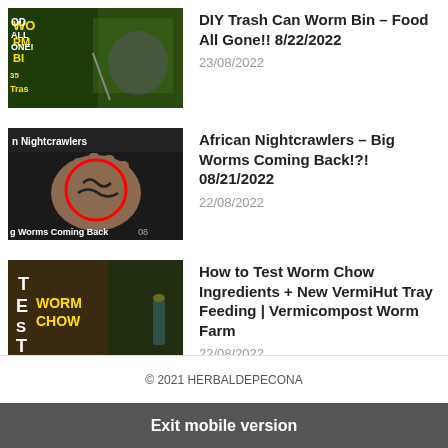[Figure (photo): Thumbnail for DIY Trash Can Worm Bin video with yellow and green text overlay]
DIY Trash Can Worm Bin – Food All Gone!! 8/22/2022
23/08/2022
[Figure (photo): Thumbnail for African Nightcrawlers video showing worms in a hand with red circle]
African Nightcrawlers – Big Worms Coming Back!?! 08/21/2022
22/08/2022
[Figure (photo): Thumbnail for Worm Chow Ingredients video with text overlay on dark background]
How to Test Worm Chow Ingredients + New VermiHut Tray Feeding | Vermicompost Worm Farm
22/08/2022
© 2021 HERBALDEPECONA
Exit mobile version